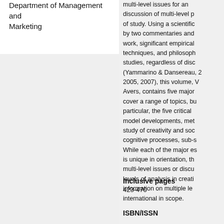Department of Management and Marketing
discussion of multi-level p of study. Using a scientific by two commentaries and work, significant empirical techniques, and philosoph studies, regardless of disc (Yammarino & Dansereau, 2 2005, 2007), this volume, V Avers, contains five major cover a range of topics, bu particular, the five critical model developments, met study of creativity and soc cognitive processes, sub-s While each of the major es is unique in orientation, th multi-level issues or discu levels of analysis in creati information on multiple le international in scope.
Inclusive pages
423-470
ISBN/ISSN